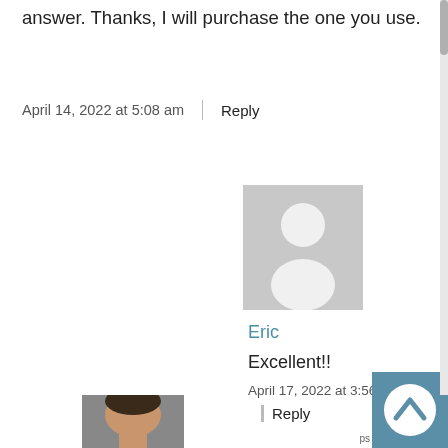answer. Thanks, I will purchase the one you use.
April 14, 2022 at 5:08 am    Reply
[Figure (illustration): Generic user avatar placeholder icon — grey square with white silhouette of a person]
Eric
Excellent!!
April 17, 2022 at 3:56 pm
Reply
[Figure (photo): Partial photo of a person's head/face at the bottom of the page]
[Figure (illustration): Scroll-to-top button: teal/blue square with white upward chevron arrow]